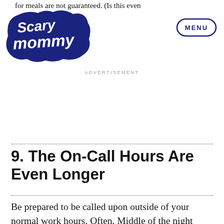for meals are not guaranteed. (Is this even
[Figure (logo): Scary Mommy logo — cursive white text on dark navy cloud/bubble shape]
[Figure (other): MENU button — oval/pill shaped border with MENU text in navy]
ADVERTISEMENT
9. The On-Call Hours Are Even Longer
Be prepared to be called upon outside of your normal work hours. Often. Middle of the night calls, text time before your feet have even